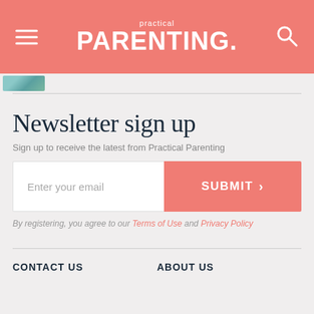practical PARENTING.
[Figure (photo): Small thumbnail image partially visible at top left below header]
Newsletter sign up
Sign up to receive the latest from Practical Parenting
Enter your email   SUBMIT ›
By registering, you agree to our Terms of Use and Privacy Policy
CONTACT US
ABOUT US